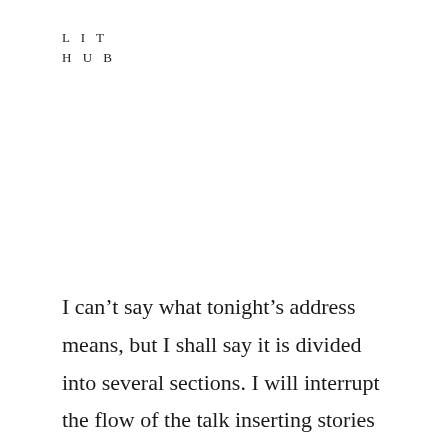L I T
H U B
I can’t say what tonight’s address means, but I shall say it is divided into several sections. I will interrupt the flow of the talk inserting stories